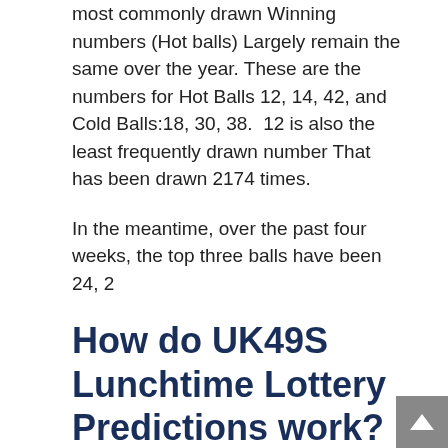most commonly drawn Winning numbers (Hot balls) Largely remain the same over the year. These are the numbers for Hot Balls 12, 14, 42, and Cold Balls:18, 30, 38.  12 is also the least frequently drawn number That has been drawn 2174 times.
In the meantime, over the past four weeks, the top three balls have been 24, 2
How do UK49S Lunchtime Lottery Predictions work?
Different civilizations introduce different Schemes and heck, even software is used for this purpose. They can guide you to